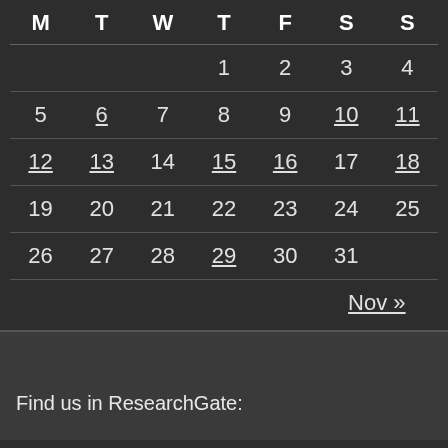| M | T | W | T | F | S | S |
| --- | --- | --- | --- | --- | --- | --- |
|  |  |  | 1 | 2 | 3 | 4 |
| 5 | 6 | 7 | 8 | 9 | 10 | 11 |
| 12 | 13 | 14 | 15 | 16 | 17 | 18 |
| 19 | 20 | 21 | 22 | 23 | 24 | 25 |
| 26 | 27 | 28 | 29 | 30 | 31 |  |
Nov »
Find us in ResearchGate: